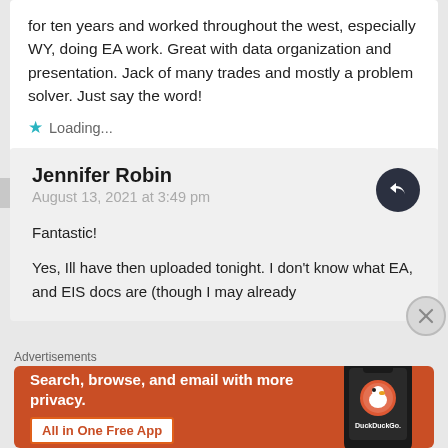for ten years and worked throughout the west, especially WY, doing EA work. Great with data organization and presentation. Jack of many trades and mostly a problem solver. Just say the word!
★ Loading...
Jennifer Robin
August 13, 2021 at 3:49 pm
Fantastic!
Yes, Ill have then uploaded tonight. I don't know what EA, and EIS docs are (though I may already
Advertisements
[Figure (screenshot): DuckDuckGo advertisement banner: orange background with text 'Search, browse, and email with more privacy. All in One Free App' and a phone mockup showing the DuckDuckGo app logo and name.]